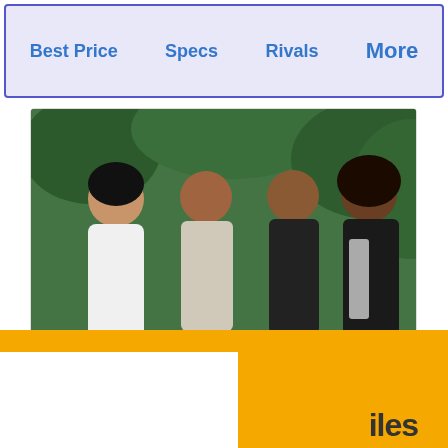Best Price   Specs   Rivals   More
[Figure (photo): A family of four posing outdoors with green trees in background. Two young women, a middle-aged man in plaid shirt, and a woman in black and white patterned dress, all smiling.]
'First Daughters': From Cute Little Kids To Beautiful Young Women
Herbeauty
[Figure (other): Bottom orange banner with white cutout shape, partially visible advertisement.]
iles